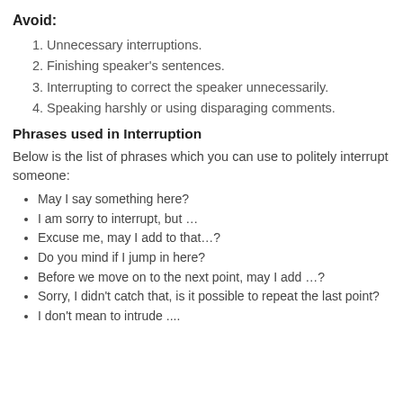Avoid:
1. Unnecessary interruptions.
2. Finishing speaker's sentences.
3. Interrupting to correct the speaker unnecessarily.
4. Speaking harshly or using disparaging comments.
Phrases used in Interruption
Below is the list of phrases which you can use to politely interrupt someone:
May I say something here?
I am sorry to interrupt, but …
Excuse me, may I add to that…?
Do you mind if I jump in here?
Before we move on to the next point, may I add …?
Sorry, I didn't catch that, is it possible to repeat the last point?
I don't mean to intrude ....